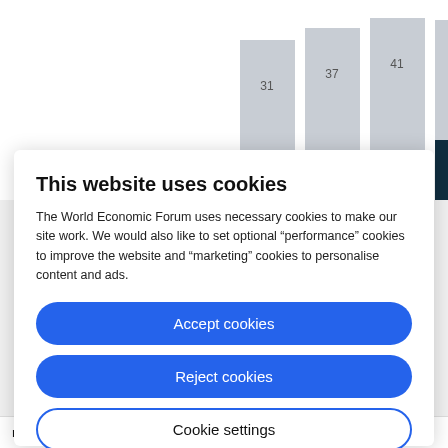[Figure (stacked-bar-chart): Partial stacked bar chart visible behind cookie consent overlay. Five bars visible with dark teal bottom segments labeled 11, 9, 10, 15, 17 and light gray top segments labeled 31, 37, 41, 40 (fifth bar top value not fully visible).]
This website uses cookies
The World Economic Forum uses necessary cookies to make our site work. We would also like to set optional “performance” cookies to improve the website and “marketing” cookies to personalise content and ads.
Accept cookies
Reject cookies
Cookie settings
mentor, and coach, for example. Two-thirds of